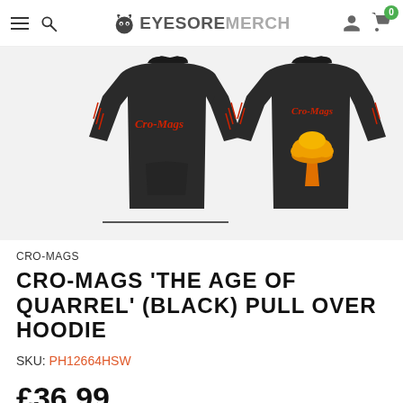Eyesore Merch
[Figure (photo): Two views of a black Cro-Mags pull over hoodie — front view showing 'Cro-Mags' text in red gothic lettering on chest, and back view showing nuclear mushroom cloud graphic in orange/gold with 'Cro-Mags' text above it. Both hoodies have red text/pattern on sleeves.]
CRO-MAGS
CRO-MAGS 'THE AGE OF QUARREL' (BLACK) PULL OVER HOODIE
SKU: PH12664HSW
£36.99